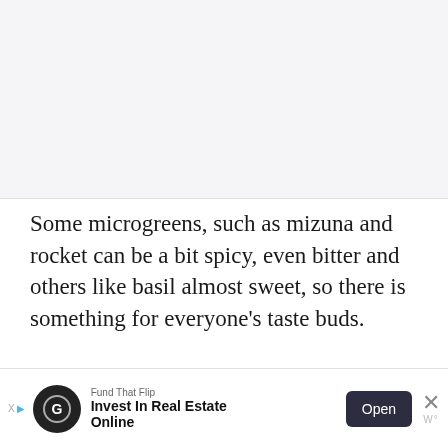[Figure (photo): Image placeholder area, light gray background, likely a photo of microgreens]
Some microgreens, such as mizuna and rocket can be a bit spicy, even bitter and others like basil almost sweet, so there is something for everyone's taste buds.
How To Grow Microgreens
[Figure (other): Advertisement banner: Fund That Flip - Invest In Real Estate Online, with Open button and close X]